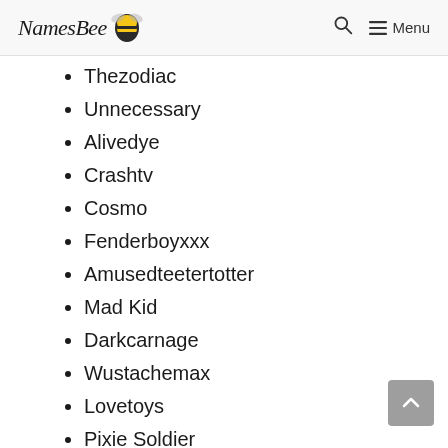NamesBee — Search Menu
Thezodiac
Unnecessary
Alivedye
Crashtv
Cosmo
Fenderboyxxx
Amusedteetertotter
Mad Kid
Darkcarnage
Wustachemax
Lovetoys
Pixie Soldier
Grintinytoes
Flylilies
Ineedp